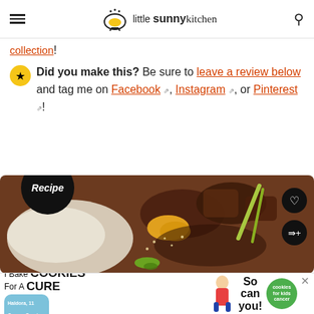little sunny kitchen (logo with hamburger menu and search icon)
collection!
Did you make this? Be sure to leave a review below and tag me on Facebook, Instagram, or Pinterest!
[Figure (photo): A top-down photo of an Asian stir-fry dish with meat, vegetables, sesame seeds and green onions served over white rice, with a black 'Recipe' badge in the upper left, a heart button and share button on the right side.]
[Figure (infographic): Advertisement banner: 'I Bake COOKIES For A CURE - Haldora, 11 Cancer Survivor - So can you! - cookies for kids cancer' with a green circle logo and a close/X button.]